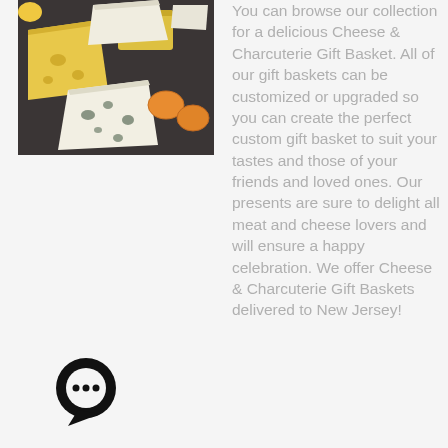[Figure (photo): Photo of assorted cheeses including blue cheese, yellow cheese wedges, and dried apricots on a dark slate board]
You can browse our collection for a delicious Cheese & Charcuterie Gift Basket. All of our gift baskets can be customized or upgraded so you can create the perfect custom gift basket to suit your tastes and those of your friends and loved ones. Our presents are sure to delight all meat and cheese lovers and will ensure a happy celebration. We offer Cheese & Charcuterie Gift Baskets delivered to New Jersey!
[Figure (illustration): Black speech bubble chat icon with three dots inside]